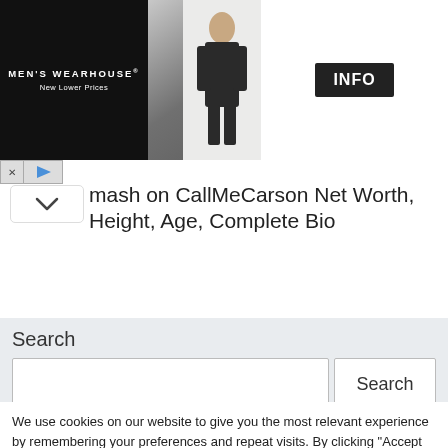[Figure (photo): Men's Wearhouse advertisement banner with couple in formal wear and a man in a suit on the right, with an INFO button]
mash on CallMeCarson Net Worth, Height, Age, Complete Bio
Search
We use cookies on our website to give you the most relevant experience by remembering your preferences and repeat visits. By clicking “Accept All”, you consent to the use of ALL the cookies. However, you may visit "Cookie Settings" to provide a controlled consent.
Cookie Settings  Accept All